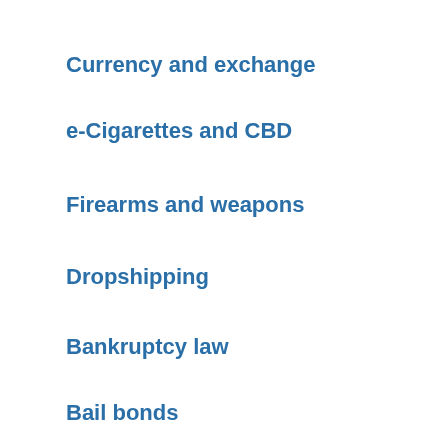Currency and exchange
e-Cigarettes and CBD
Firearms and weapons
Dropshipping
Bankruptcy law
Bail bonds